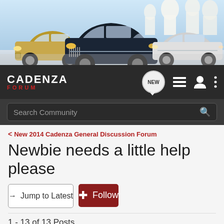[Figure (photo): Banner showing three Kia Cadenza luxury sedans parked in front of a white architectural building with domed towers — one gold/champagne on the left, one dark navy/black in the center, one silver/white on the right.]
CADENZA FORUM — navigation bar with NEW badge, list icon, user icon, and menu icon
Search Community
< New 2014 Cadenza General Discussion Forum
Newbie needs a little help please
→ Jump to Latest
+ Follow
1 - 13 of 13 Posts
Big Dawg · Registered
Joined Dec 4, 2014 · 9 Posts